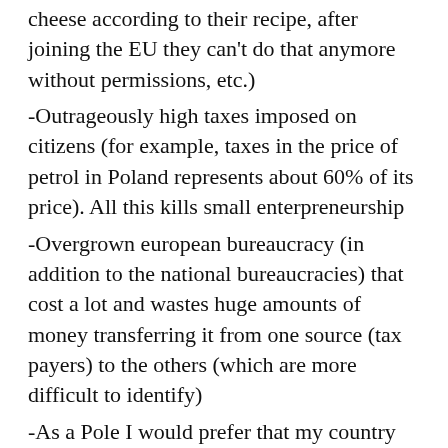cheese according to their recipe, after joining the EU they can't do that anymore without permissions, etc.)
-Outrageously high taxes imposed on citizens (for example, taxes in the price of petrol in Poland represents about 60% of its price). All this kills small enterpreneurship
-Overgrown european bureaucracy (in addition to the national bureaucracies) that cost a lot and wastes huge amounts of money transferring it from one source (tax payers) to the others (which are more difficult to identify)
-As a Pole I would prefer that my country be developing as other Western countries have done, and not with various kinds of subsidies. Subsidies have not worked anywhere (example: billions of german mark pumped to the East